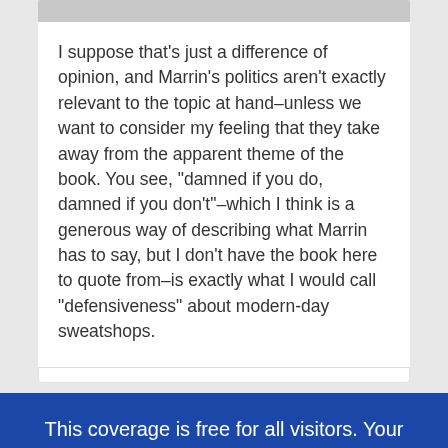I suppose that's just a difference of opinion, and Marrin's politics aren't exactly relevant to the topic at hand–unless we want to consider my feeling that they take away from the apparent theme of the book. You see, "damned if you do, damned if you don't"–which I think is a generous way of describing what Marrin has to say, but I don't have the book here to quote from–is exactly what I would call "defensiveness" about modern-day sweatshops.
This coverage is free for all visitors. Your support makes this possible.
SUBSCRIBE